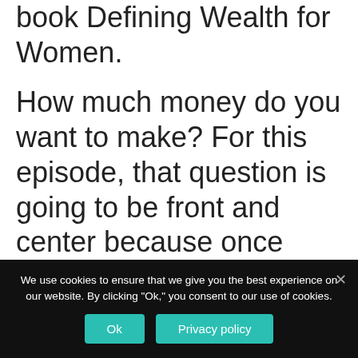book Defining Wealth for Women.
How much money do you want to make? For this episode, that question is going to be front and center because once you're clear on what you want to achieve, I'm showing you everything that's standing in your way, why it seems so
We use cookies to ensure that we give you the best experience on our website. By clicking "Ok," you consent to our use of cookies.